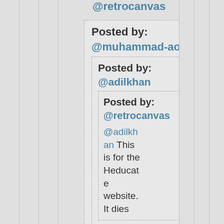@retrocanvas
Posted by: @muhammad-aown
Posted by: @adilkhan
Posted by: @retrocanvas
@adilkhan This is for the Heducate website. It dies